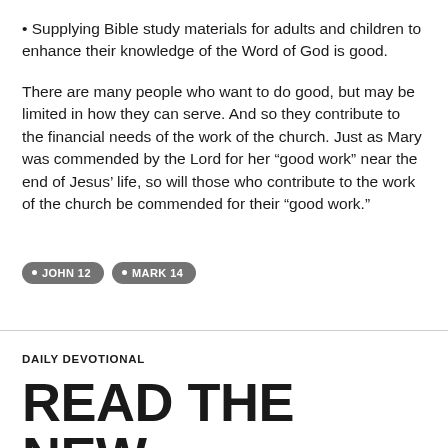• Supplying Bible study materials for adults and children to enhance their knowledge of the Word of God is good.
There are many people who want to do good, but may be limited in how they can serve. And so they contribute to the financial needs of the work of the church. Just as Mary was commended by the Lord for her “good work” near the end of Jesus’ life, so will those who contribute to the work of the church be commended for their “good work.”
• JOHN 12  • MARK 14
DAILY DEVOTIONAL
READ THE NEW